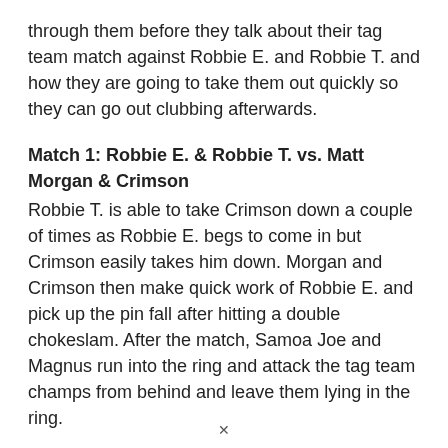through them before they talk about their tag team match against Robbie E. and Robbie T. and how they are going to take them out quickly so they can go out clubbing afterwards.
Match 1: Robbie E. & Robbie T. vs. Matt Morgan & Crimson
Robbie T. is able to take Crimson down a couple of times as Robbie E. begs to come in but Crimson easily takes him down. Morgan and Crimson then make quick work of Robbie E. and pick up the pin fall after hitting a double chokeslam. After the match, Samoa Joe and Magnus run into the ring and attack the tag team champs from behind and leave them lying in the ring.
We see a video package on the feud between Garett Bischoff and Immortal. Footage of Gunner driving Garett